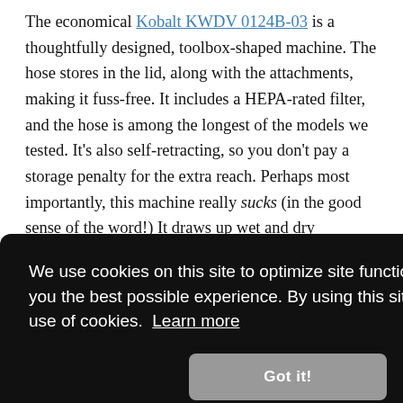The economical Kobalt KWDV 0124B-03 is a thoughtfully designed, toolbox-shaped machine. The hose stores in the lid, along with the attachments, making it fuss-free. It includes a HEPA-rated filter, and the hose is among the longest of the models we tested. It's also self-retracting, so you don't pay a storage penalty for the extra reach. Perhaps most importantly, this machine really sucks (in the good sense of the word!) It draws up wet and dry materials like a twister has taken them.
[Figure (screenshot): Cookie consent overlay with dark background reading: 'We use cookies on this site to optimize site functionality and give you the best possible experience. By using this site, you accept our use of cookies. Learn more' with a 'Got it!' button.]